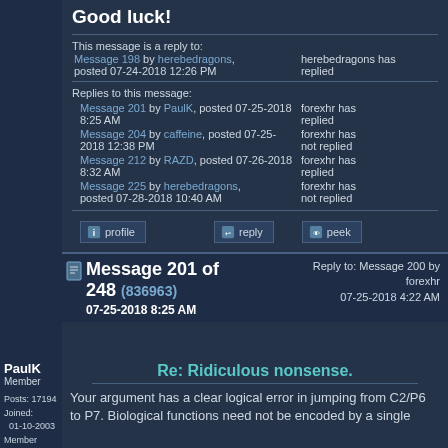Good luck!
This message is a reply to:
Message 198 by herebedragons, posted 07-24-2018 12:26 PM | herebedragons has replied
Replies to this message:
Message 201 by PaulK, posted 07-25-2018 8:25 AM | forexhr has replied
Message 204 by caffeine, posted 07-25-2018 12:38 PM | forexhr has not replied
Message 212 by RAZD, posted 07-26-2018 8:32 AM | forexhr has replied
Message 225 by herebedragons, posted 07-28-2018 10:40 AM | forexhr has not replied
profile | reply | peek
PaulK Member Posts: 17194 Joined: 01-10-2003 Member Rating: 2.8
Message 201 of 248 (836963) 07-25-2018 8:25 AM | Reply to: Message 200 by forexhr 07-25-2018 4:22 AM
Re: Ridiculous nonsense.
Your argument has a clear logical error in jumping from C2/P6 to P7. Biological functions need not be encoded by a single